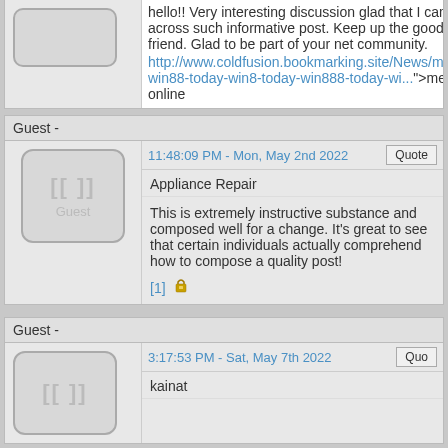hello!! Very interesting discussion glad that I came across such informative post. Keep up the good work friend. Glad to be part of your net community. http://www.coldfusion.bookmarking.site/News/meg-win88-today-win8-today-win888-today-wi...">meg online
Guest -
11:48:09 PM - Mon, May 2nd 2022
Appliance Repair
This is extremely instructive substance and composed well for a change. It's great to see that certain individuals actually comprehend how to compose a quality post! [1]
Guest -
3:17:53 PM - Sat, May 7th 2022
kainat